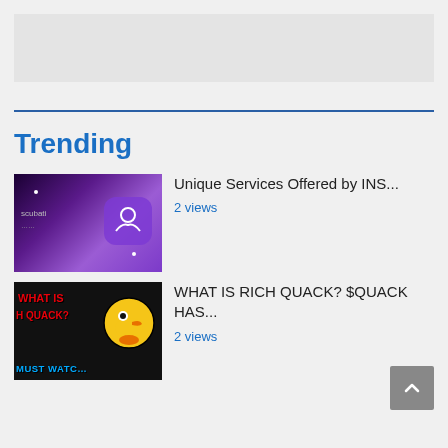[Figure (other): Gray advertisement banner placeholder]
Trending
[Figure (screenshot): Video thumbnail with purple gradient background, white icon of hands holding a circle, and text 'scubati']
Unique Services Offered by INS...
2 views
[Figure (screenshot): Video thumbnail black background with colorful text 'WHAT IS RICH QUACK?' and cartoon duck character, blue text 'MUST WATCH' at bottom]
WHAT IS RICH QUACK? $QUACK HAS...
2 views